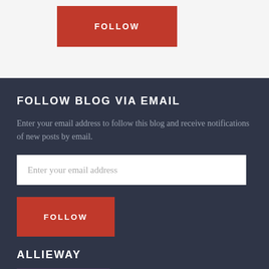[Figure (other): Red FOLLOW button on light grey background]
FOLLOW BLOG VIA EMAIL
Enter your email address to follow this blog and receive notifications of new posts by email.
Enter your email address
[Figure (other): Red FOLLOW button]
ALLIEWAY
[Figure (photo): Partially visible dark image thumbnail]